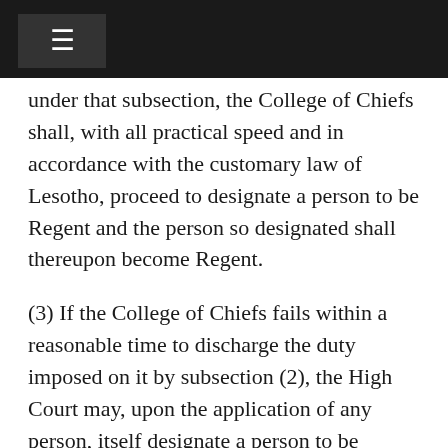under that subsection, the College of Chiefs shall, with all practical speed and in accordance with the customary law of Lesotho, proceed to designate a person to be Regent and the person so designated shall thereupon become Regent.
(3) If the College of Chiefs fails within a reasonable time to discharge the duty imposed on it by subsection (2), the High Court may, upon the application of any person, itself designate a person to be Regent in accordance with the customary law of Lesotho and the person so designated shall thereupon become Regent.
(4) A Regent shall not exercise the functions of the office of King at any time when a person is for the time being designated to exercise such functions in pursuance of section 45(3) of this Constitution.
(5) Every designation made for the purpose of this section shall be published in the Gazette.